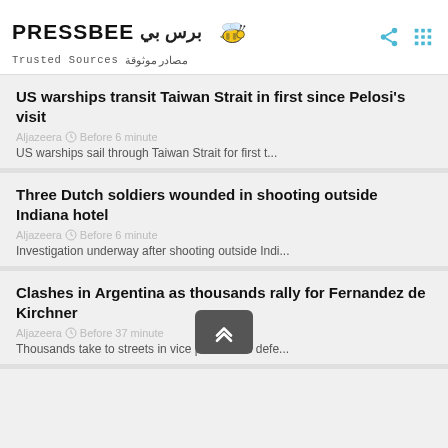[Figure (logo): Pressbee logo with bee illustration and tagline 'Trusted Sources']
US warships transit Taiwan Strait in first since Pelosi's visit
Aljazeera  Before 6 minute
US warships sail through Taiwan Strait for first t...
Three Dutch soldiers wounded in shooting outside Indiana hotel
Aljazeera  Before 6 minute
Investigation underway after shooting outside Indi...
Clashes in Argentina as thousands rally for Fernandez de Kirchner
Aljazeera  Before 37 minute
Thousands take to streets in vice president's defe...